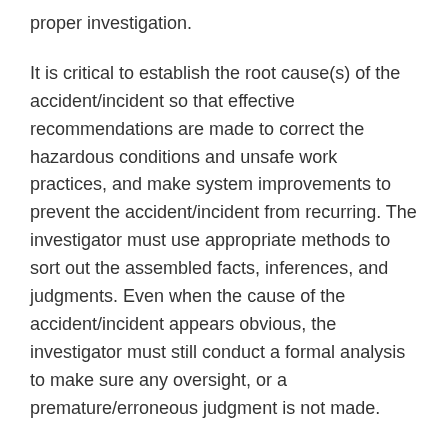proper investigation.
It is critical to establish the root cause(s) of the accident/incident so that effective recommendations are made to correct the hazardous conditions and unsafe work practices, and make system improvements to prevent the accident/incident from recurring. The investigator must use appropriate methods to sort out the assembled facts, inferences, and judgments. Even when the cause of the accident/incident appears obvious, the investigator must still conduct a formal analysis to make sure any oversight, or a premature/erroneous judgment is not made.
Usually, making recommendations for corrective actions and system improvements follow in a rather straightforward manner from the cause(s) that were